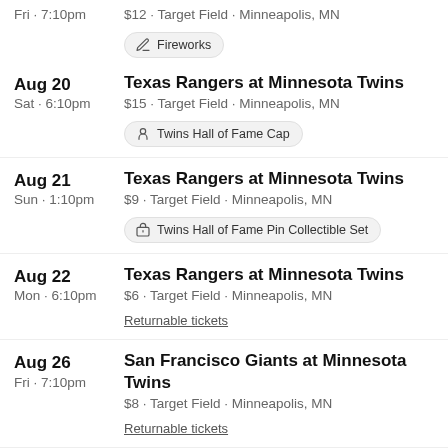Fri · 7:10pm   $12 · Target Field · Minneapolis, MN
Fireworks
Aug 20 / Sat · 6:10pm / Texas Rangers at Minnesota Twins / $15 · Target Field · Minneapolis, MN / Twins Hall of Fame Cap
Aug 21 / Sun · 1:10pm / Texas Rangers at Minnesota Twins / $9 · Target Field · Minneapolis, MN / Twins Hall of Fame Pin Collectible Set
Aug 22 / Mon · 6:10pm / Texas Rangers at Minnesota Twins / $6 · Target Field · Minneapolis, MN / Returnable tickets
Aug 26 / Fri · 7:10pm / San Francisco Giants at Minnesota Twins / $8 · Target Field · Minneapolis, MN / Returnable tickets